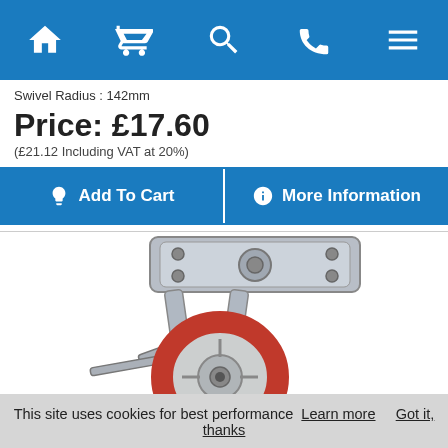Navigation bar with home, cart, search, phone, menu icons
Swivel Radius : 142mm
Price: £17.60
(£21.12 Including VAT at 20%)
Add To Cart | More Information
[Figure (photo): Industrial swivel caster wheel with red polyurethane wheel, stainless steel fork and top plate with brake, shown at an angle]
This site uses cookies for best performance  Learn more      Got it, thanks